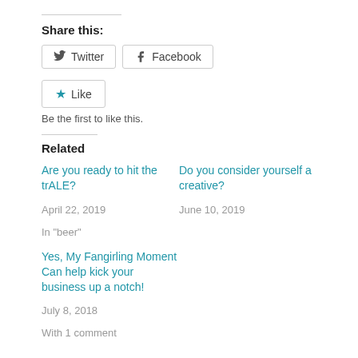Share this:
Twitter | Facebook
Like
Be the first to like this.
Related
Are you ready to hit the trALE?
April 22, 2019
In "beer"
Do you consider yourself a creative?
June 10, 2019
Yes, My Fangirling Moment Can help kick your business up a notch!
July 8, 2018
With 1 comment